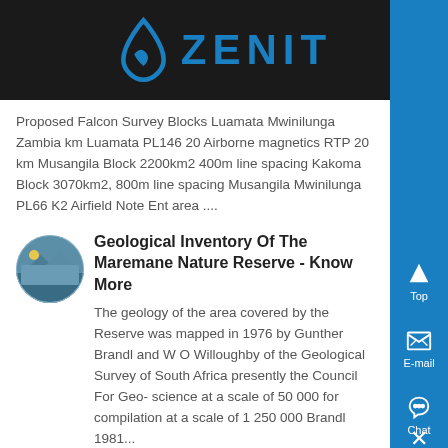ZENIT
Proposed Falcon Survey Blocks Luamata Mwinilunga Zambia km Luamata PL146 20 Airborne magnetics RTP 20 km Musangila Block 2200km2 400m line spacing Kakoma Block 3070km2, 800m line spacing Musangila Mwinilunga PL66 K2 Airfield Note Ent area ....
Geological Inventory Of The Maremane Nature Reserve - Know More
The geology of the area covered by the Reserve was mapped in 1976 by Gunther Brandl and W O Willoughby of the Geological Survey of South Africa presently the Council For Geo- science at a scale of 50 000 for compilation at a scale of 1 250 000 Brandl 1981...